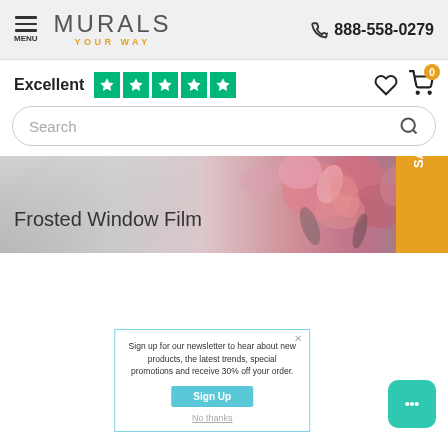MURALS YOUR WAY | 888-558-0279
Excellent ★★★★★
Search
[Figure (photo): Banner image of frosted window film with pink floral design and Save 30% badge on right side]
Frosted Window Film
Sign up for our newsletter to hear about new products, the latest trends, special promotions and receive 30% off your order.
Sign Up
No thanks